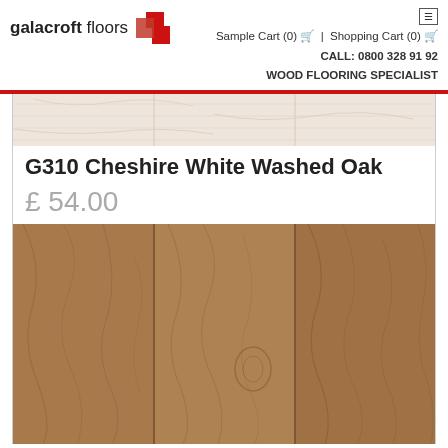[Figure (logo): Galacroft Floors logo with red geometric icon and text]
Sample Cart (0) 🛒 | Shopping Cart (0) 🛒
CALL: 0800 328 91 92
WOOD FLOORING SPECIALIST
[Figure (photo): Light white washed oak wood flooring planks, top portion visible]
G310 Cheshire White Washed Oak
£ 54.00
[Figure (photo): Natural medium-brown oak wood flooring planks showing wood grain, three boards visible]